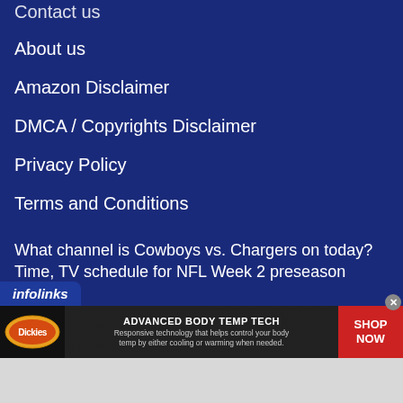Contact us
About us
Amazon Disclaimer
DMCA / Copyrights Disclaimer
Privacy Policy
Terms and Conditions
What channel is Cowboys vs. Chargers on today? Time, TV schedule for NFL Week 2 preseason game
Jones sprints to lead at U.S. gym championships
[Figure (screenshot): Infolinks advertisement bar with Dickies brand ad showing 'ADVANCED BODY TEMP TECH' with shop now button]